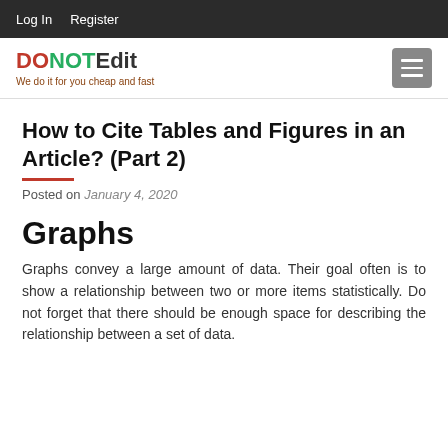Log In   Register
[Figure (logo): DONOTEdit logo with tagline 'We do it for you cheap and fast' and hamburger menu button]
How to Cite Tables and Figures in an Article? (Part 2)
Posted on January 4, 2020
Graphs
Graphs convey a large amount of data. Their goal often is to show a relationship between two or more items statistically. Do not forget that there should be enough space for describing the relationship between a set of data.